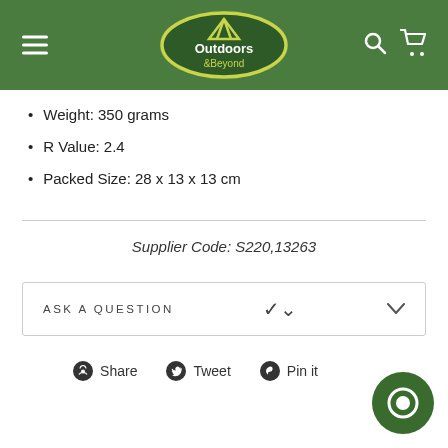[Figure (logo): Outdoors & Beyond logo in green oval with yellow border and tent icon]
Weight: 350 grams
R Value: 2.4
Packed Size: 28 x 13 x 13 cm
Supplier Code: S220,13263
ASK A QUESTION
Share  Tweet  Pin it